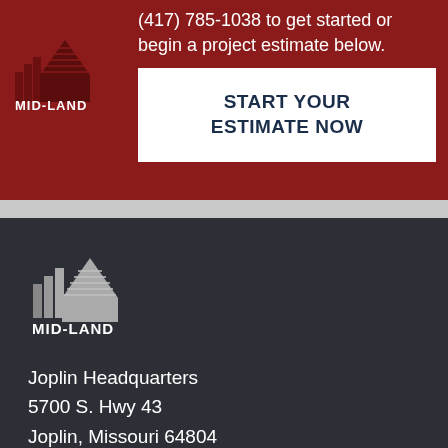[Figure (logo): Mid-Land Enterprises logo — dark red building/warehouse icon above text MID-LAND ENTERPRISES in white on dark red background]
(417) 785-1038 to get started or begin a project estimate below.
START YOUR ESTIMATE NOW
[Figure (logo): Mid-Land Enterprises logo — gray building/warehouse icon above text MID-LAND ENTERPRISES in white/gray on dark charcoal background]
Joplin Headquarters
5700 S. Hwy 43
Joplin, Missouri 64804